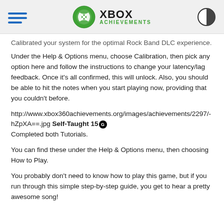XBOX ACHIEVEMENTS
Calibrated your system for the optimal Rock Band DLC experience.
Under the Help & Options menu, choose Calibration, then pick any option here and follow the instructions to change your latency/lag feedback. Once it's all confirmed, this will unlock. Also, you should be able to hit the notes when you start playing now, providing that you couldn't before.
http://www.xbox360achievements.org/images/achievements/2297/-hZpXA==.jpg Self-Taught 15G
Completed both Tutorials.
You can find these under the Help & Options menu, then choosing How to Play.
You probably don't need to know how to play this game, but if you run through this simple step-by-step guide, you get to hear a pretty awesome song!